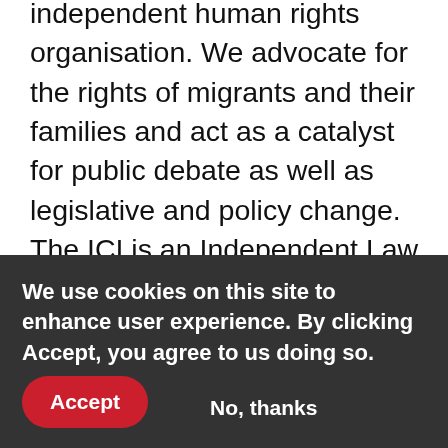independent human rights organisation. We advocate for the rights of migrants and their families and act as a catalyst for public debate as well as legislative and policy change. The ICI is an Independent Law Centre, which means we can provide legal representation to migrants and their families. We undertake strategic litigation in order to try to effect change and in that
We use cookies on this site to enhance user experience. By clicking Accept, you agree to us doing so.
Accept
No, thanks